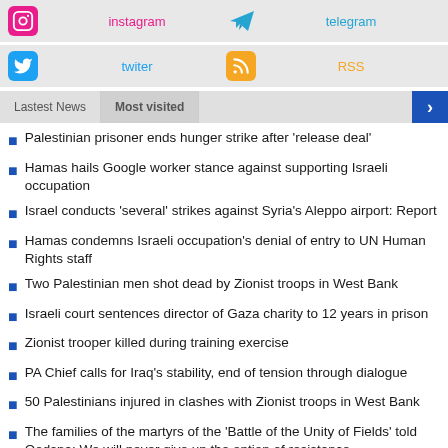instagram (social bar with icon)
telegram (social bar with icon)
twiter (social bar with icon)
RSS (social bar with icon)
Lastest News | Most visited
Palestinian prisoner ends hunger strike after 'release deal'
Hamas hails Google worker stance against supporting Israeli occupation
Israel conducts 'several' strikes against Syria's Aleppo airport: Report
Hamas condemns Israeli occupation's denial of entry to UN Human Rights staff
Two Palestinian men shot dead by Zionist troops in West Bank
Israeli court sentences director of Gaza charity to 12 years in prison
Zionist trooper killed during training exercise
PA Chief calls for Iraq's stability, end of tension through dialogue
50 Palestinians injured in clashes with Zionist troops in West Bank
The families of the martyrs of the 'Battle of the Unity of Fields' told Qodsna: We will never give up the option of resistance
Commentaries